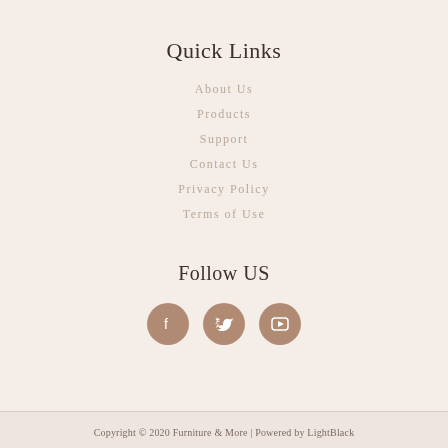Quick Links
About Us
Products
Support
Contact Us
Privacy Policy
Terms of Use
Follow US
[Figure (illustration): Three social media icon circles (Facebook, Twitter, YouTube) in brown/tan color]
Copyright © 2020 Furniture & More | Powered by LightBlack